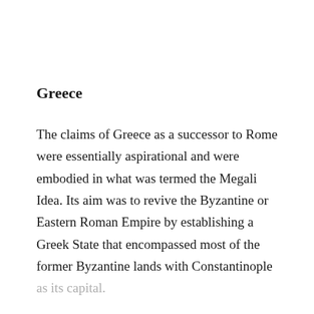Greece
The claims of Greece as a successor to Rome were essentially aspirational and were embodied in what was termed the Megali Idea. Its aim was to revive the Byzantine or Eastern Roman Empire by establishing a Greek State that encompassed most of the former Byzantine lands with Constantinople as its capital.